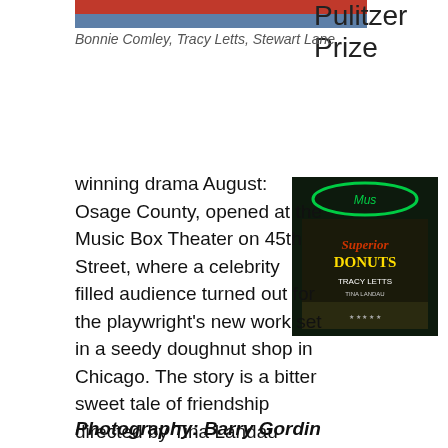[Figure (photo): Top portion of a photo showing Bonnie Comley, Tracy Letts, Stewart Lane (partially visible, cropped at top)]
Bonnie Comley, Tracy Letts, Stewart Lane
Pulitzer Prize
[Figure (photo): Nighttime photo of a theater marquee showing 'Superior Donuts' by Tracy Letts with neon signage]
winning drama August: Osage County, opened at the Music Box Theater on 45th Street, where a celebrity filled audience turned out for the playwright's new work set in a seedy doughnut shop in Chicago. The story is a bitter sweet tale of friendship directed by Tina Landau making her Broadway debut guiding the original cast from the sold out run of the Steppenwolf Theatre Company's Chicago production. For tickets call 212-239-6200.
Photography: Barry Gordin